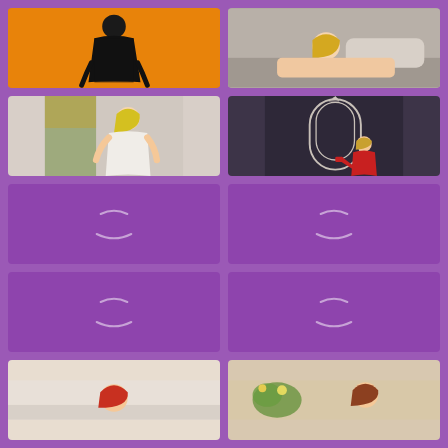[Figure (photo): Person in black lingerie on orange background]
[Figure (photo): Blonde woman lying on grey bed]
[Figure (photo): Blonde woman in white top indoors]
[Figure (photo): Woman in red dress sitting by ornate throne/chair in dark purple room]
[Figure (photo): Loading placeholder - purple background with spinner]
[Figure (photo): Loading placeholder - purple background with spinner]
[Figure (photo): Loading placeholder - purple background with spinner]
[Figure (photo): Loading placeholder - purple background with spinner]
[Figure (photo): Partial view - redhead woman on light background]
[Figure (photo): Partial view - woman with plants/flowers on warm background]